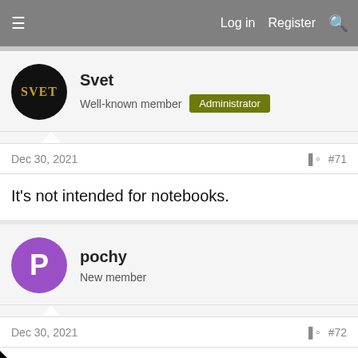≡   Log in   Register   🔍
Svet
Well-known member   Administrator
Dec 30, 2021   #71
It's not intended for notebooks.
pochy
New member
Dec 30, 2021   #72
Thanks @Svet for your time and answer!
can you tell me some path or tool for do this process
eed to do for support UEFI in my old